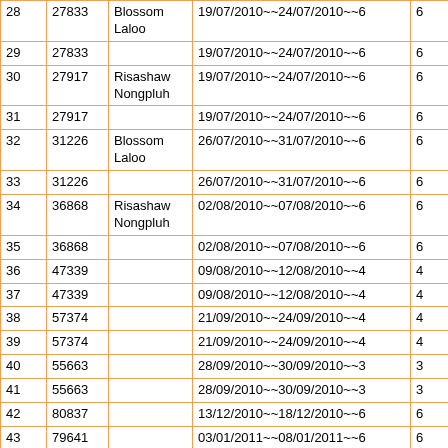| # | ID | Name | Date Range | Days |
| --- | --- | --- | --- | --- |
| 28 | 27833 | Blossom Laloo | 19/07/2010~~24/07/2010~~6 | 6 |
| 29 | 27833 |  | 19/07/2010~~24/07/2010~~6 | 6 |
| 30 | 27917 | Risashaw Nongpluh | 19/07/2010~~24/07/2010~~6 | 6 |
| 31 | 27917 |  | 19/07/2010~~24/07/2010~~6 | 6 |
| 32 | 31226 | Blossom Laloo | 26/07/2010~~31/07/2010~~6 | 6 |
| 33 | 31226 |  | 26/07/2010~~31/07/2010~~6 | 6 |
| 34 | 36868 | Risashaw Nongpluh | 02/08/2010~~07/08/2010~~6 | 6 |
| 35 | 36868 |  | 02/08/2010~~07/08/2010~~6 | 6 |
| 36 | 47339 |  | 09/08/2010~~12/08/2010~~4 | 4 |
| 37 | 47339 |  | 09/08/2010~~12/08/2010~~4 | 4 |
| 38 | 57374 |  | 21/09/2010~~24/09/2010~~4 | 4 |
| 39 | 57374 |  | 21/09/2010~~24/09/2010~~4 | 4 |
| 40 | 55663 |  | 28/09/2010~~30/09/2010~~3 | 3 |
| 41 | 55663 |  | 28/09/2010~~30/09/2010~~3 | 3 |
| 42 | 80837 |  | 13/12/2010~~18/12/2010~~6 | 6 |
| 43 | 79641 |  | 03/01/2011~~08/01/2011~~6 | 6 |
| 44 | 73851 |  | 10/01/2011~~15/01/2011~~6 | 6 |
| 45 | 2300 |  | 04/04/2011~~05/04/2011~~2 | 2 |
| 46 | 2115 |  | 11/04/2011~~12/04/2011~~2 | 2 |
| 47 | 1833 |  | 25/04/2011~~30/04/2011~~6 | 6 |
| 48 | 1946 |  | 02/05/2011~~08/05/2011~~7 | 6 |
| 49 | 12167 | Rimapaia | 13/06/2011~~18/06/2011~~6 | 6 |